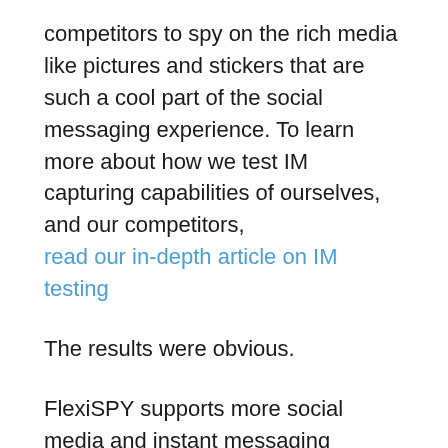competitors to spy on the rich media like pictures and stickers that are such a cool part of the social messaging experience. To learn more about how we test IM capturing capabilities of ourselves, and our competitors, read our in-depth article on IM testing
The results were obvious.
FlexiSPY supports more social media and instant messaging programs than any other competitor.